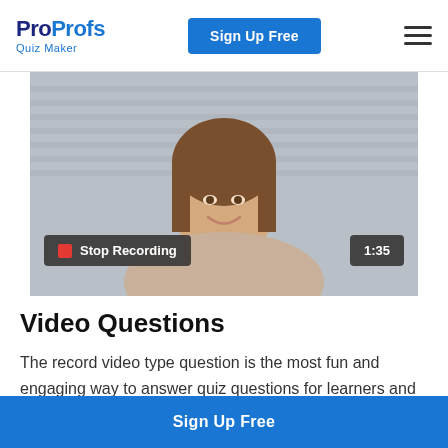ProProfs Quiz Maker — Sign Up Free
[Figure (screenshot): Video recording interface showing a smiling woman on camera with a 'Stop Recording' button in the lower left and a timer showing 1:35 in the lower right.]
Video Questions
The record video type question is the most fun and engaging way to answer quiz questions for learners and an
Sign Up Free